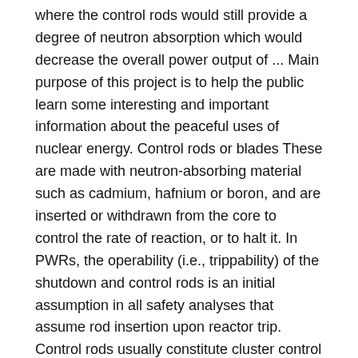where the control rods would still provide a degree of neutron absorption which would decrease the overall power output of ... Main purpose of this project is to help the public learn some interesting and important information about the peaceful uses of nuclear energy. Control rods or blades These are made with neutron-absorbing material such as cadmium, hafnium or boron, and are inserted or withdrawn from the core to control the rate of reaction, or to halt it. In PWRs, the operability (i.e., trippability) of the shutdown and control rods is an initial assumption in all safety analyses that assume rod insertion upon reactor trip. Control rods usually constitute cluster control rod assemblies and are inserted into guide thimbles within a nuclear fuel assembly. Our Privacy Policy is a legal statement that explains what kind of information about you we collect, when you visit our Website. There are other cases where they donât function properly, like in the event of an earthquake. Accordingly, it is possible that the control rods melt and collapse before the reactor core is significantly damaged in the case of